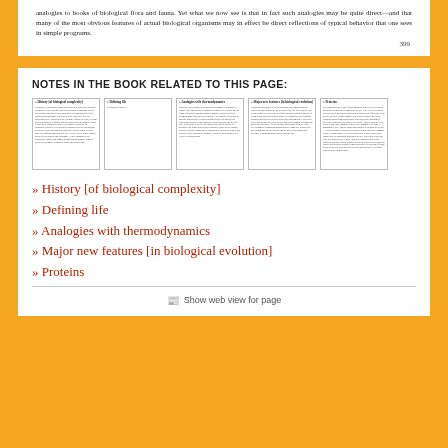analogies to books of biological flora and fauna. Yet what we now see is that in fact such analogies may be quite direct—and that many of the most obvious features of actual biological organisms may in effect be direct reflections of typical behavior that one sees in simple programs.
399
NOTES IN THE BOOK RELATED TO THIS PAGE:
[Figure (screenshot): Five thumbnail images of book note pages with titles: History [of biological complexity], Defining life, Analogies with thermodynamics, Major new features [in biological evolution], Proteins]
History [of biological complexity]
Defining life
Analogies with thermodynamics
Major new features [in biological evolution]
Proteins
Show web view for page